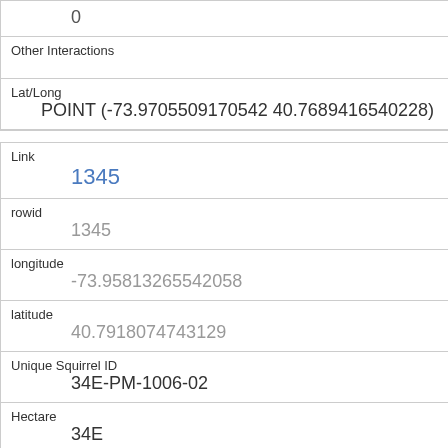| 0 |
| Other Interactions |  |
| Lat/Long | POINT (-73.9705509170542 40.7689416540228) |
| Link | 1345 |
| rowid | 1345 |
| longitude | -73.95813265542058 |
| latitude | 40.7918074743129 |
| Unique Squirrel ID | 34E-PM-1006-02 |
| Hectare | 34E |
| Shift | PM |